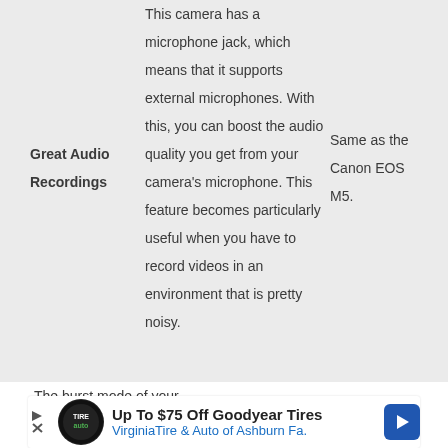| Feature | Description | Comparison |
| --- | --- | --- |
| Great Audio Recordings | This camera has a microphone jack, which means that it supports external microphones. With this, you can boost the audio quality you get from your camera's microphone. This feature becomes particularly useful when you have to record videos in an environment that is pretty noisy. | Same as the Canon EOS M5. |
The burst mode of your
[Figure (infographic): Advertisement banner: Up To $75 Off Goodyear Tires - VirginiaTire & Auto of Ashburn Fa.]